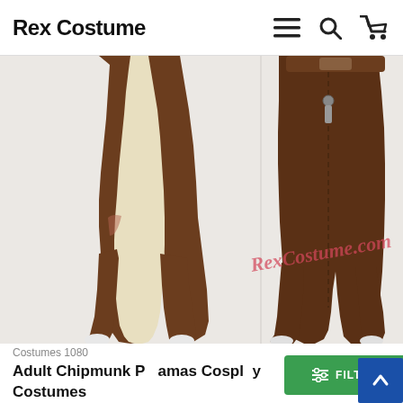Rex Costume
[Figure (photo): Two views of an adult chipmunk onesie/kigurumi costume. Left view shows the front with a cream/beige belly panel and brown outer fabric. Right view shows the back. White socks visible at the feet. RexCostume.com watermark overlaid on the image.]
Costumes 1080
Adult Chipmunk Pajamas Cosplay Costumes
$28.08
FILTER PRODUCTS